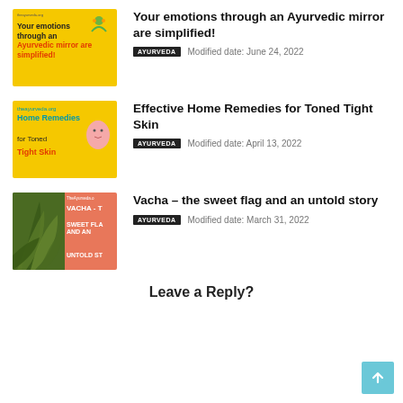[Figure (illustration): Yellow thumbnail image with text 'Your emotions through an Ayurvedic mirror are simplified!' and icons]
Your emotions through an Ayurvedic mirror are simplified!
AYURVEDA   Modified date: June 24, 2022
[Figure (illustration): Yellow thumbnail with teal/red text 'Home Remedies for Toned Tight Skin' and face illustration]
Effective Home Remedies for Toned Tight Skin
AYURVEDA   Modified date: April 13, 2022
[Figure (photo): Green plant leaves on left, salmon background with bold white text 'VACHA - THE SWEET FLAG AND AN UNTOLD STORY']
Vacha – the sweet flag and an untold story
AYURVEDA   Modified date: March 31, 2022
Leave a Reply?